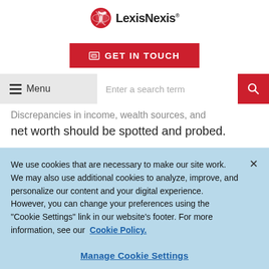[Figure (logo): LexisNexis logo with red globe/feather icon and bold text 'LexisNexis']
GET IN TOUCH
Menu  |  Enter a search term  [search button]
Discrepancies in income, wealth sources, and net worth should be spotted and probed.
We use cookies that are necessary to make our site work. We may also use additional cookies to analyze, improve, and personalize our content and your digital experience. However, you can change your preferences using the "Cookie Settings" link in our website's footer. For more information, see our Cookie Policy.
Manage Cookie Settings